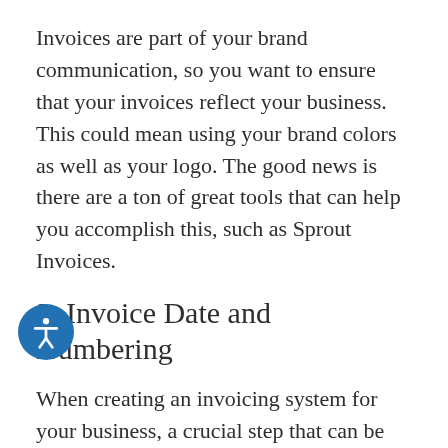Invoices are part of your brand communication, so you want to ensure that your invoices reflect your business. This could mean using your brand colors as well as your logo. The good news is there are a ton of great tools that can help you accomplish this, such as Sprout Invoices.
3. Invoice Date and Numbering
When creating an invoicing system for your business, a crucial step that can be easily overlooked is the date and reference number convention. Be sure to include these on the invoice in an easy to view location, as they will become integral when organizing later for both you and your client.